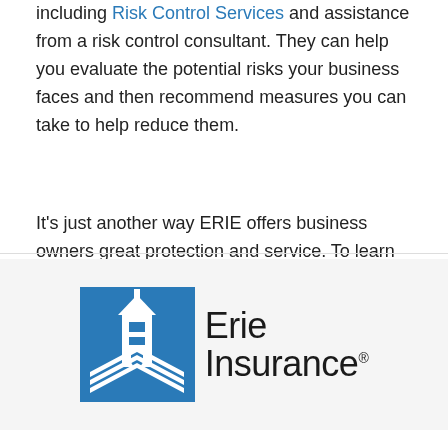including Risk Control Services and assistance from a risk control consultant. They can help you evaluate the potential risks your business faces and then recommend measures you can take to help reduce them.
It's just another way ERIE offers business owners great protection and service. To learn more about how ERIE's risk control services can help your business, contact a local Erie Insurance agent in your community.
[Figure (logo): Erie Insurance logo with blue building/house icon on left and 'Erie Insurance' text with registered trademark symbol on right, on a light gray background]